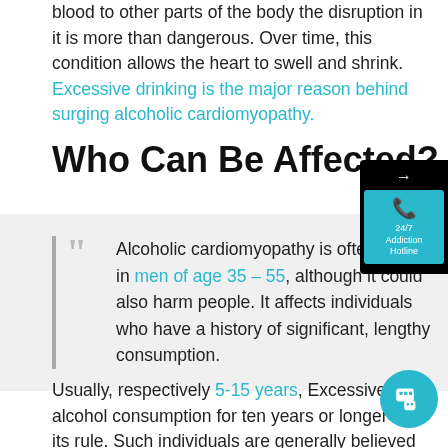blood to other parts of the body the disruption in it is more than dangerous. Over time, this condition allows the heart to swell and shrink. Excessive drinking is the major reason behind surging alcoholic cardiomyopathy.
Who Can Be Affected?
Alcoholic cardiomyopathy is often found in men of age 35 – 55, although it could also harm people. It affects individuals who have a history of significant, lengthy consumption.
[Figure (other): 24/7 Addiction Hotline widget with phone icon on dark background]
Usually, respectively 5-15 years, Excessive alcohol consumption for ten years or longer was its rule. Such individuals are generally believed also to be patients of alcoholic cardiomyopathy. There's shortly no evidence the use of one form of alcohol above another with such elevated risk for having cardiomyopathy.